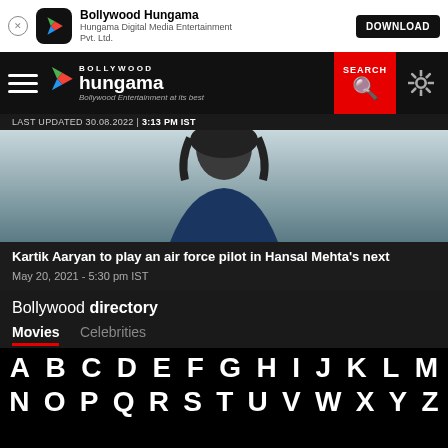Bollywood Hungama | Hungama Digital Media Entertainment Pvt. Ltd. | DOWNLOAD
[Figure (screenshot): Bollywood Hungama app navigation bar with logo, hamburger menu, search button and settings gear icon]
LAST UPDATED 30.08.2022 | 3:13 PM IST
[Figure (photo): Photo of Kartik Aaryan, Bollywood actor, upper body portrait]
Kartik Aaryan to play an air force pilot in Hansal Mehta's next
May 20, 2021 - 5:30 pm IST
Bollywood directory
Movies  Celebrities
A B C D E F G H I J K L M
N O P Q R S T U V W X Y Z